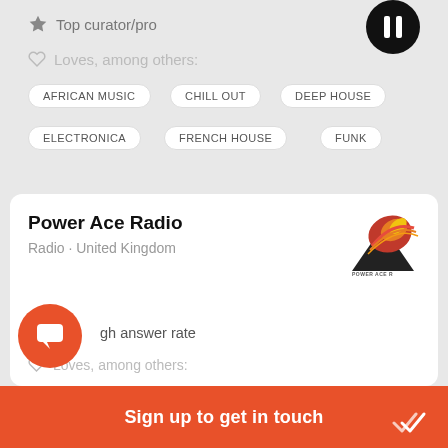★ Top curator/pro
♡ Loves, among others:
AFRICAN MUSIC
CHILL OUT
DEEP HOUSE
ELECTRONICA
FRENCH HOUSE
FUNK
Power Ace Radio
Radio · United Kingdom
[Figure (logo): Power Ace Radio logo — stylized eagle/bird in red, orange and yellow over a black triangle shape]
High answer rate
♡ Loves, among others:
Sign up to get in touch